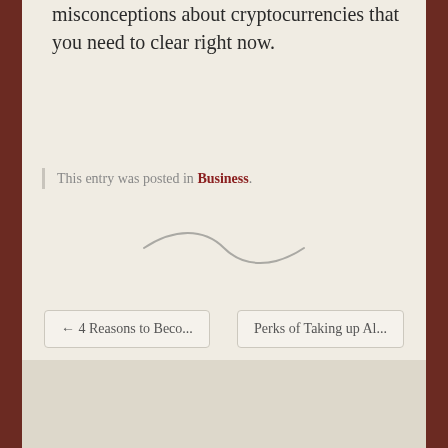misconceptions about cryptocurrencies that you need to clear right now.
This entry was posted in Business.
[Figure (illustration): Decorative tilde/wave divider line in gray]
← 4 Reasons to Beco...
Perks of Taking up Al...
Proudly powered by WordPress | Theme: Quintus by WordPress.com.